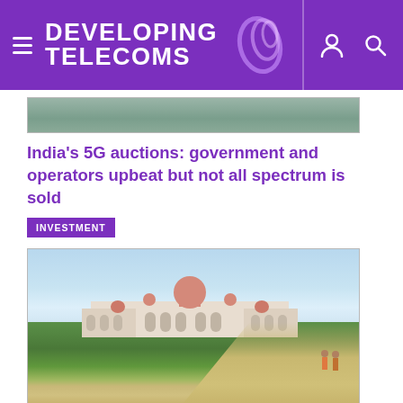DEVELOPING TELECOMS
[Figure (photo): Partial image at top of page showing an outdoor scene with people]
India's 5G auctions: government and operators upbeat but not all spectrum is sold
INVESTMENT
[Figure (photo): Photo of Mysore Palace with green lawns, pathway, and blue sky]
India's 5G spectrum auction draws to a close; 5G testing continues